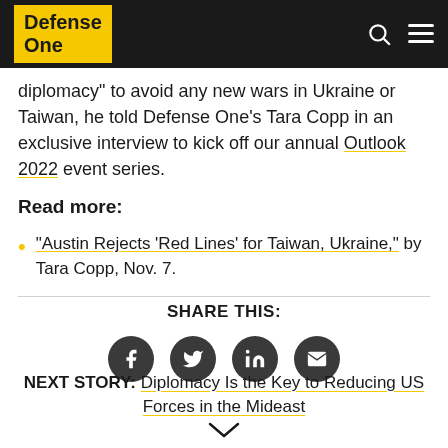Defense One
diplomacy" to avoid any new wars in Ukraine or Taiwan, he told Defense One's Tara Copp in an exclusive interview to kick off our annual Outlook 2022 event series.
Read more:
"Austin Rejects 'Red Lines' for Taiwan, Ukraine," by Tara Copp, Nov. 7.
SHARE THIS:
NEXT STORY: Diplomacy Is the Key to Reducing US Forces in the Mideast